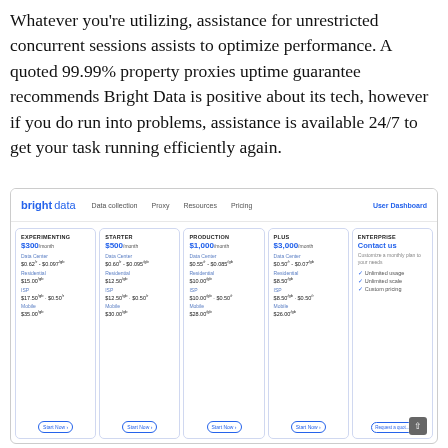Whatever you're utilizing, assistance for unrestricted concurrent sessions assists to optimize performance. A quoted 99.99% property proxies uptime guarantee recommends Bright Data is positive about its tech, however if you do run into problems, assistance is available 24/7 to get your task running efficiently again.
[Figure (screenshot): Bright Data pricing page screenshot showing five plans: Experimenting ($300/month), Starter ($500/month), Production ($1,000/month), Plus ($3,000/month), and Enterprise (Contact us). Each plan lists Data Center, Residential, ISP, and Mobile pricing rates.]